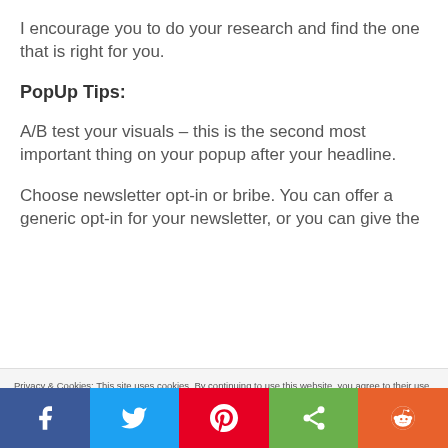I encourage you to do your research and find the one that is right for you.
PopUp Tips:
A/B test your visuals – this is the second most important thing on your popup after your headline.
Choose newsletter opt-in or bribe. You can offer a generic opt-in for your newsletter, or you can give the
Privacy & Cookies: This site uses cookies. By continuing to use this website, you agree to their use.
To find out more, including how to control cookies, see here: Cookie Policy
Close and accept
[Figure (infographic): Social sharing bar with Facebook, Twitter, Pinterest, share, and Reddit buttons]